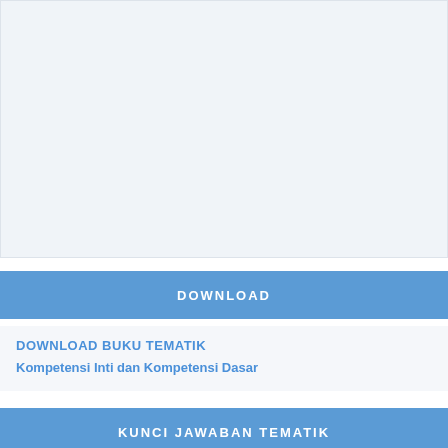[Figure (other): Large light blue-gray placeholder image area at top of page]
DOWNLOAD
DOWNLOAD BUKU TEMATIK
Kompetensi Inti dan Kompetensi Dasar
KUNCI JAWABAN TEMATIK